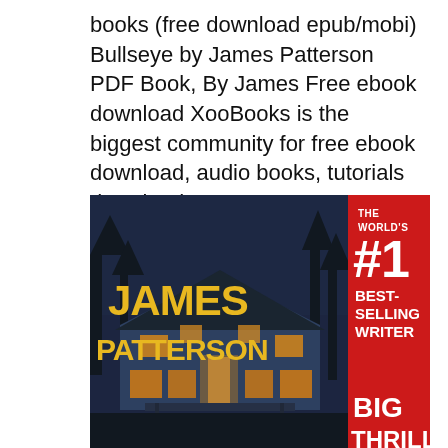books (free download epub/mobi) Bullseye by James Patterson PDF Book, By James Free ebook download XooBooks is the biggest community for free ebook download, audio books, tutorials download.
[Figure (illustration): Book cover for James Patterson showing a house at night with yellow text reading JAMES PATTERSON, THE WORLD'S #1 BEST-SELLING WRITER, BIG THRILLS on a red panel]